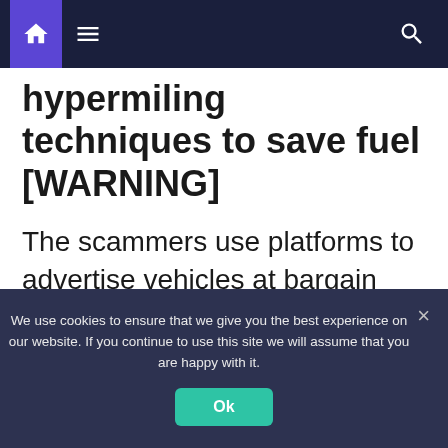[Navigation bar with home, menu, and search icons]
hypermiling techniques to save fuel [WARNING]
The scammers use platforms to advertise vehicles at bargain prices to lure in potential buyers.
The spokesperson added: “One unlucky
We use cookies to ensure that we give you the best experience on our website. If you continue to use this site we will assume that you are happy with it.